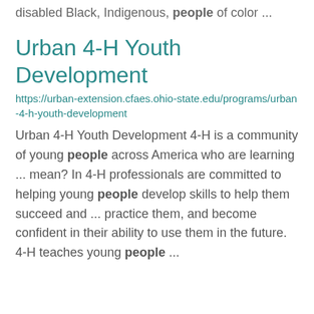disabled Black, Indigenous, people of color ...
Urban 4-H Youth Development
https://urban-extension.cfaes.ohio-state.edu/programs/urban-4-h-youth-development
Urban 4-H Youth Development 4-H is a community of young people across America who are learning ... mean? In 4-H professionals are committed to helping young people develop skills to help them succeed and ... practice them, and become confident in their ability to use them in the future. 4-H teaches young people ...